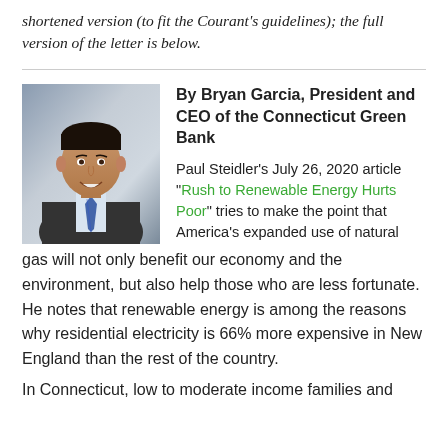shortened version (to fit the Courant's guidelines); the full version of the letter is below.
[Figure (photo): Headshot photo of Bryan Garcia, a man in a suit and tie, smiling, against a grey background.]
By Bryan Garcia, President and CEO of the Connecticut Green Bank
Paul Steidler's July 26, 2020 article “Rush to Renewable Energy Hurts Poor” tries to make the point that America’s expanded use of natural gas will not only benefit our economy and the environment, but also help those who are less fortunate.  He notes that renewable energy is among the reasons why residential electricity is 66% more expensive in New England than the rest of the country.
In Connecticut, low to moderate income families and